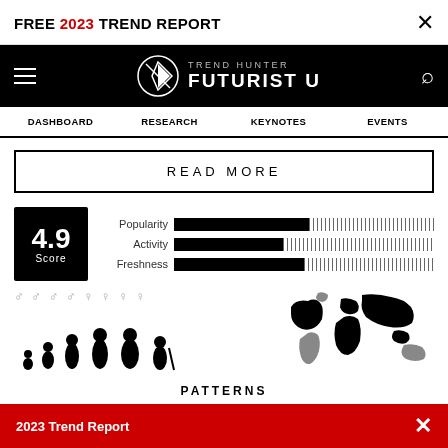FREE 2023 TREND REPORT  ×
[Figure (logo): Trend Hunter Futurist U logo with circle/arrow icon on black navigation bar with hamburger menu and search icon]
DASHBOARD  RESEARCH  KEYNOTES  EVENTS
READ MORE
[Figure (infographic): Score box showing 4.9 Score with three horizontal bar meters for Popularity, Activity, and Freshness]
[Figure (infographic): Demographics infographic showing gender symbols (male/female) and age progression silhouettes alongside a world map showing geographic distribution]
PATTERNS
2023 Trend Report  ×